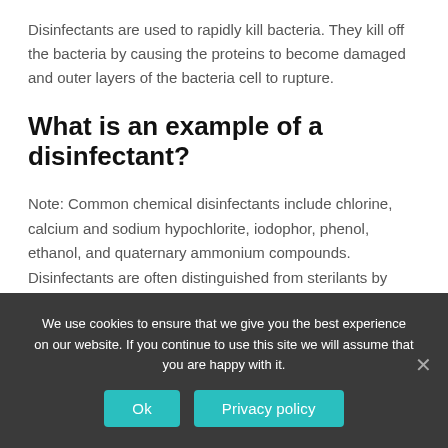Disinfectants are used to rapidly kill bacteria. They kill off the bacteria by causing the proteins to become damaged and outer layers of the bacteria cell to rupture.
What is an example of a disinfectant?
Note: Common chemical disinfectants include chlorine, calcium and sodium hypochlorite, iodophor, phenol, ethanol, and quaternary ammonium compounds. Disinfectants are often distinguished from sterilants by having reduced effectiveness against dormant bacterial
We use cookies to ensure that we give you the best experience on our website. If you continue to use this site we will assume that you are happy with it.